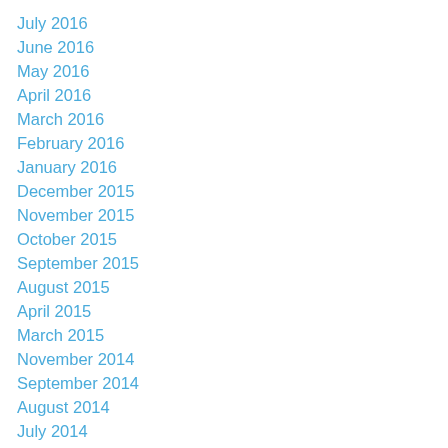July 2016
June 2016
May 2016
April 2016
March 2016
February 2016
January 2016
December 2015
November 2015
October 2015
September 2015
August 2015
April 2015
March 2015
November 2014
September 2014
August 2014
July 2014
June 2014
May 2014